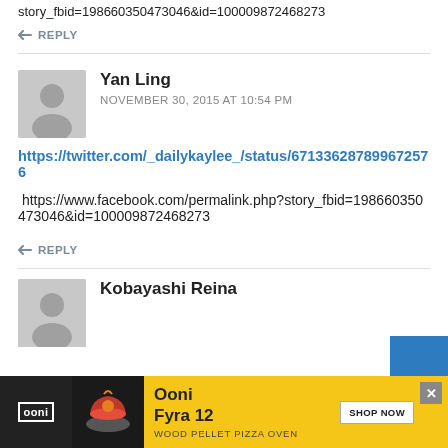story_fbid=198660350473046&id=100009872468273
↩ REPLY
Yan Ling
NOVEMBER 30, 2015 AT 10:54 PM
https://twitter.com/_dailykaylee_/status/671336287899672576
https://www.facebook.com/permalink.php?story_fbid=198660350473046&id=100009872468273
↩ REPLY
Kobayashi Reina
[Figure (infographic): Advertisement banner for Ooni Fyra 12 wood pellet pizza oven on yellow background with shop now button]